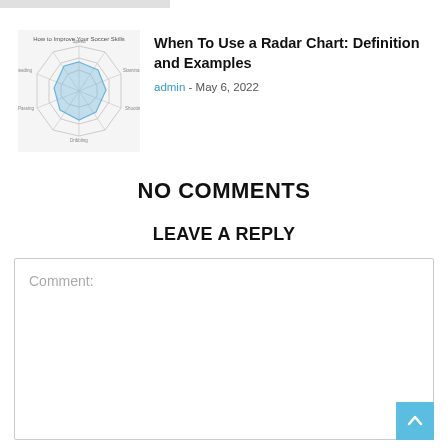[Figure (radar-chart): Thumbnail image of a radar chart article showing a spider/web chart with light blue shaded area]
When To Use a Radar Chart: Definition and Examples
admin - May 6, 2022
NO COMMENTS
LEAVE A REPLY
Comment: